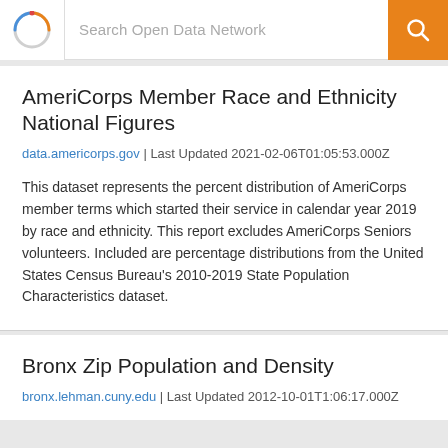Search Open Data Network
AmeriCorps Member Race and Ethnicity National Figures
data.americorps.gov | Last Updated 2021-02-06T01:05:53.000Z
This dataset represents the percent distribution of AmeriCorps member terms which started their service in calendar year 2019 by race and ethnicity. This report excludes AmeriCorps Seniors volunteers. Included are percentage distributions from the United States Census Bureau's 2010-2019 State Population Characteristics dataset.
Bronx Zip Population and Density
bronx.lehman.cuny.edu | Last Updated 2012-10-01T1:06:17.000Z